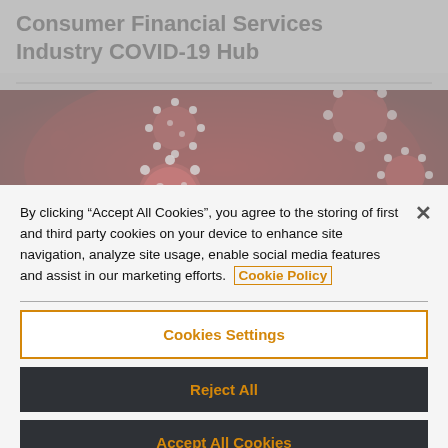Consumer Financial Services Industry COVID-19 Hub
[Figure (photo): Close-up microscope image of coronavirus particles on a dark red background]
By clicking “Accept All Cookies”, you agree to the storing of first and third party cookies on your device to enhance site navigation, analyze site usage, enable social media features and assist in our marketing efforts. Cookie Policy
Cookies Settings
Reject All
Accept All Cookies